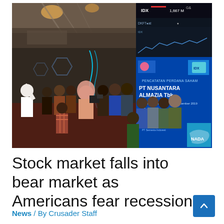[Figure (photo): Indoor stock exchange trading floor scene at Indonesia Stock Exchange (IDX). A crowd of people gather, some holding signs or cameras. A large digital display board on the right shows 'PT NUSANTARA ALMAZIA Tbk' IPO listing screen (Pencatatan Perdana Saham), dated 25 September 2019. Stock ticker at top shows IDX with value 1,667 M. The venue has a modern interior with ceiling lights.]
Stock market falls into bear market as Americans fear recession
News / By Crusader Staff